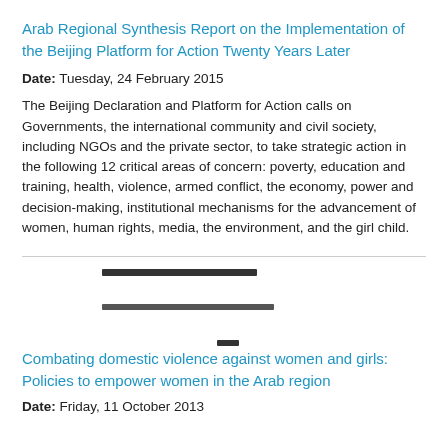Arab Regional Synthesis Report on the Implementation of the Beijing Platform for Action Twenty Years Later
Date: Tuesday, 24 February 2015
The Beijing Declaration and Platform for Action calls on Governments, the international community and civil society, including NGOs and the private sector, to take strategic action in the following 12 critical areas of concern: poverty, education and training, health, violence, armed conflict, the economy, power and decision-making, institutional mechanisms for the advancement of women, human rights, media, the environment, and the girl child.
[Figure (other): Redacted/blacked-out text lines used as separators or anonymized content]
Combating domestic violence against women and girls: Policies to empower women in the Arab region
Date: Friday, 11 October 2013